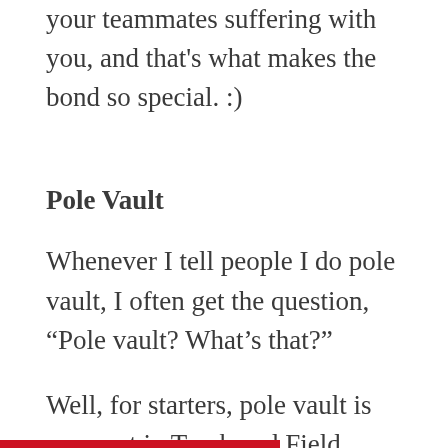your teammates suffering with you, and that's what makes the bond so special. :)
Pole Vault
Whenever I tell people I do pole vault, I often get the question, “Pole vault? What’s that?”
Well, for starters, pole vault is an event in Track and Field where a person runs and plants a pole in the ground before shooting up four metres in the air and clearing the height. While it may appear as just a brief adrenalin rush for others, it certainly isn’t just that to me. To me, pole vault is an art, and one which